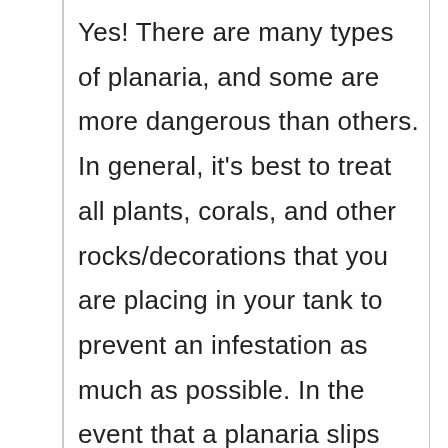Yes! There are many types of planaria, and some are more dangerous than others. In general, it's best to treat all plants, corals, and other rocks/decorations that you are placing in your tank to prevent an infestation as much as possible. In the event that a planaria slips through, it's then best to treat the tank even if there doesn't seem to be any immediate signs of trouble.